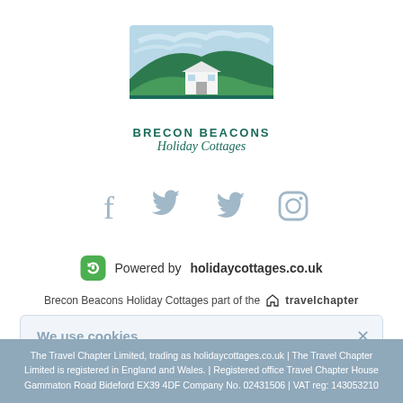[Figure (logo): Brecon Beacons Holiday Cottages logo — stylized landscape illustration with green hills and a white cottage, with text 'BRECON BEACONS Holiday Cottages' below]
[Figure (infographic): Social media icons: Facebook (f), Twitter (bird), Instagram (camera outline) in light blue-grey color]
Powered by holidaycottages.co.uk
Brecon Beacons Holiday Cottages part of the travelchapter
We use cookies
We want to give you the best service by using cookies. Continue browsing if you're happy with this or
The Travel Chapter Limited, trading as holidaycottages.co.uk | The Travel Chapter Limited is registered in England and Wales. | Registered office Travel Chapter House Gammaton Road Bideford EX39 4DF Company No. 02431506 | VAT reg: 143053210